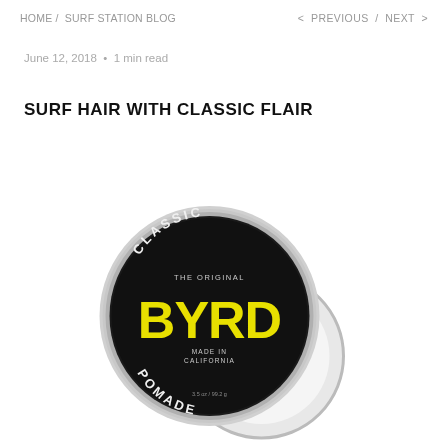HOME / SURF STATION BLOG   < PREVIOUS / NEXT >
June 12, 2018  •  1 min read
SURF HAIR WITH CLASSIC FLAIR
[Figure (photo): A round tin of Byrd Classic Pomade with a black label featuring yellow 'BYRD' text, 'CLASSIC' arched at top and 'POMADE' arched at bottom, 'THE ORIGINAL' and 'MADE IN CALIFORNIA' text, silver metal lid open and resting partially beneath.]